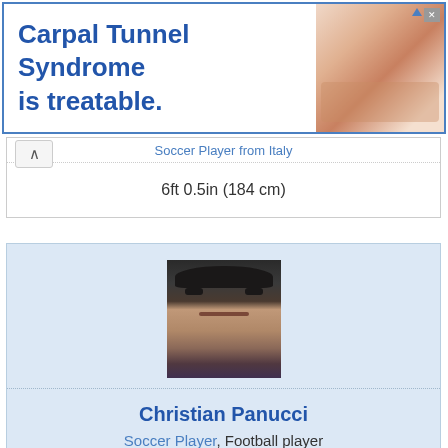[Figure (other): Advertisement banner for Carpal Tunnel Syndrome treatment with text and wrist image]
Soccer Player from Italy
6ft 0.5in (184 cm)
[Figure (photo): Photo of Christian Panucci, a dark-haired man in sports attire]
Christian Panucci
Soccer Player, Football player
Soccer Player from Italy
6ft 0.5in (184 cm)